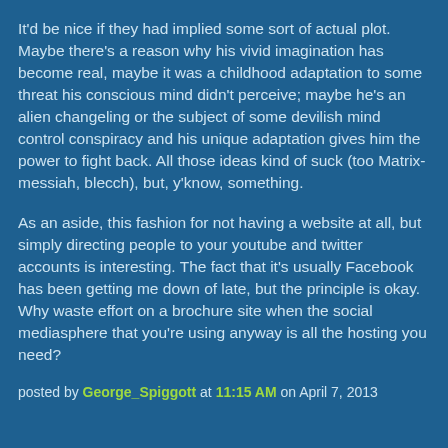It'd be nice if they had implied some sort of actual plot. Maybe there's a reason why his vivid imagination has become real, maybe it was a childhood adaptation to some threat his conscious mind didn't perceive; maybe he's an alien changeling or the subject of some devilish mind control conspiracy and his unique adaptation gives him the power to fight back. All those ideas kind of suck (too Matrix-messiah, blecch), but, y'know, something.
As an aside, this fashion for not having a website at all, but simply directing people to your youtube and twitter accounts is interesting. The fact that it's usually Facebook has been getting me down of late, but the principle is okay. Why waste effort on a brochure site when the social mediasphere that you're using anyway is all the hosting you need?
posted by George_Spiggott at 11:15 AM on April 7, 2013